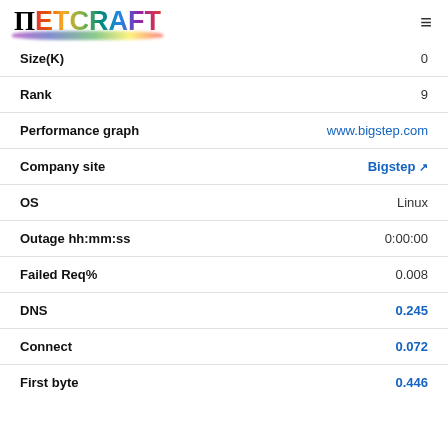Netcraft
| Field | Value |
| --- | --- |
| Size(K) | 0 |
| Rank | 9 |
| Performance graph | www.bigstep.com |
| Company site | Bigstep ↗ |
| OS | Linux |
| Outage hh:mm:ss | 0:00:00 |
| Failed Req% | 0.008 |
| DNS | 0.245 |
| Connect | 0.072 |
| First byte | 0.446 |